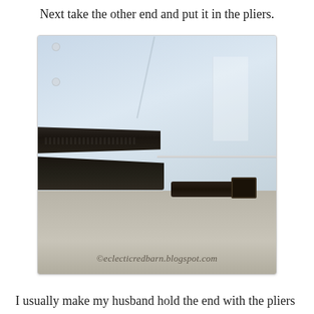Next take the other end and put it in the pliers.
[Figure (photo): Close-up photo of pliers gripping a thin wire or rod, with a person wearing a white shirt and khaki pants with a black belt visible in the background. Watermark reads: ©eclecticredbarn.blogspot.com]
I usually make my husband hold the end with the pliers